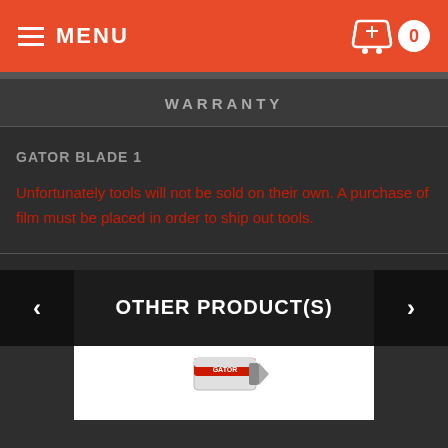MENU  0
WARRANTY
GATOR BLADE 1
Unfortunately tools will not be sold on their own. A purchase of film must be placed in order to ship out tools.
OTHER PRODUCT(S)
[Figure (photo): Product image of what appears to be a blade/tool item with red and white packaging, partially visible at bottom of page]